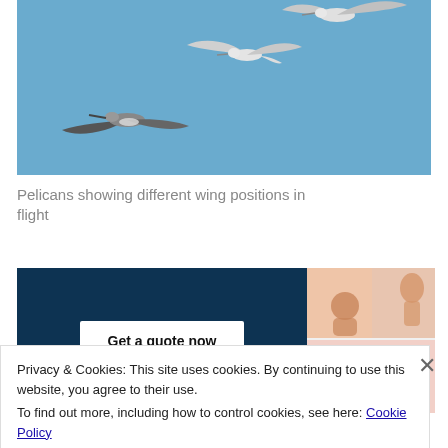[Figure (photo): Three seagulls/pelicans flying against a clear blue sky, showing different wing positions in flight]
Pelicans showing different wing positions in flight
[Figure (screenshot): A dark navy blue advertisement box with a 'Get a quote now' button, and adjacent pink/white website screenshots showing baby and other images]
Privacy & Cookies: This site uses cookies. By continuing to use this website, you agree to their use.
To find out more, including how to control cookies, see here: Cookie Policy
Close and accept